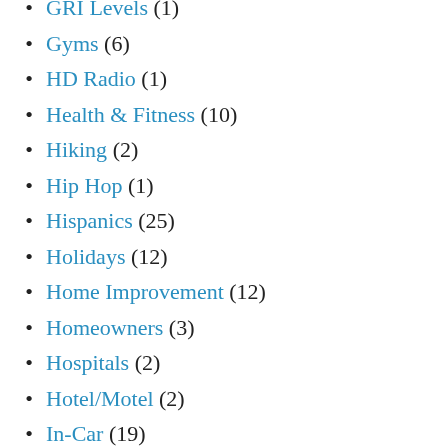GRI Levels (1)
Gyms (6)
HD Radio (1)
Health & Fitness (10)
Hiking (2)
Hip Hop (1)
Hispanics (25)
Holidays (12)
Home Improvement (12)
Homeowners (3)
Hospitals (2)
Hotel/Motel (2)
In-Car (19)
Influence Sales (53)
Information (9)
Insurance (9)
Internet Search (21)